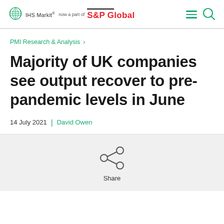IHS Markit® now a part of S&P Global
PMI Research & Analysis
Majority of UK companies see output recover to pre-pandemic levels in June
14 July 2021 | David Owen
[Figure (illustration): Share icon - three circles connected by lines in a share/network pattern, with 'Share' label below]